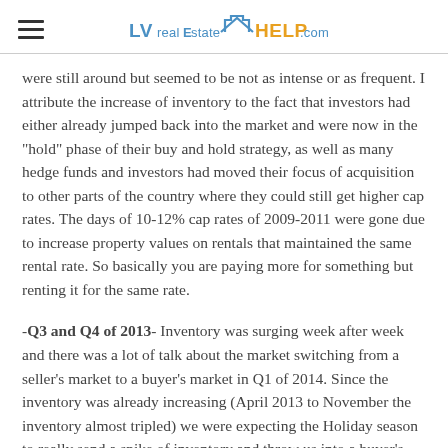LVrealestateHELP.com
were still around but seemed to be not as intense or as frequent. I attribute the increase of inventory to the fact that investors had either already jumped back into the market and were now in the "hold" phase of their buy and hold strategy, as well as many hedge funds and investors had moved their focus of acquisition to other parts of the country where they could still get higher cap rates. The days of 10-12% cap rates of 2009-2011 were gone due to increase property values on rentals that maintained the same rental rate. So basically you are paying more for something but renting it for the same rate.
-Q3 and Q4 of 2013- Inventory was surging week after week and there was a lot of talk about the market switching from a seller's market to a buyer's market in Q1 of 2014. Since the inventory was already increasing (April 2013 to November the inventory almost tripled) we were expecting the Holiday season to really send a spike of inventory and throw us into a buyer's